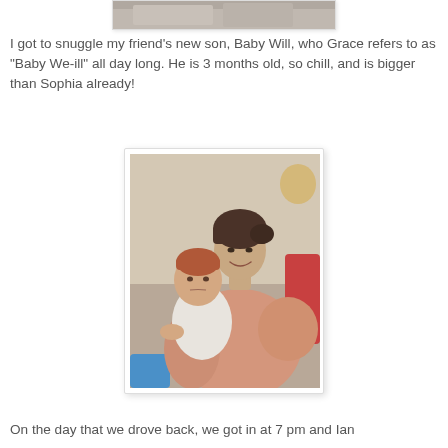[Figure (photo): Top partial photo — cropped image visible at very top of page, showing what appears to be a baby or person, only the bottom portion visible]
I got to snuggle my friend's new son, Baby Will, who Grace refers to as "Baby We-ill" all day long. He is 3 months old, so chill, and is bigger than Sophia already!
[Figure (photo): A smiling woman with dark hair pulled back, wearing a pink/mauve long-sleeve top, holding a young baby (approximately 3 months old) with reddish hair dressed in white. The baby has a somewhat serious expression. Indoor setting visible in background.]
On the day that we drove back, we got in at 7 pm and Ian